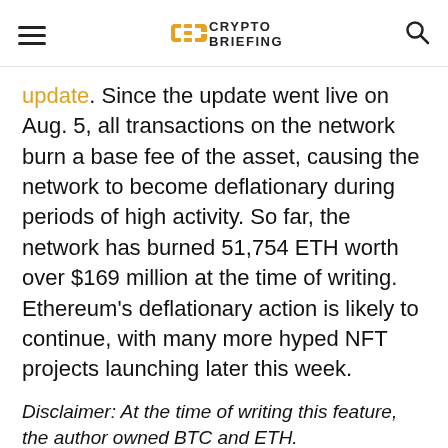Crypto Briefing
update. Since the update went live on Aug. 5, all transactions on the network burn a base fee of the asset, causing the network to become deflationary during periods of high activity. So far, the network has burned 51,754 ETH worth over $169 million at the time of writing. Ethereum's deflationary action is likely to continue, with many more hyped NFT projects launching later this week.
Disclaimer: At the time of writing this feature, the author owned BTC and ETH.
SHARE THIS ARTICLE